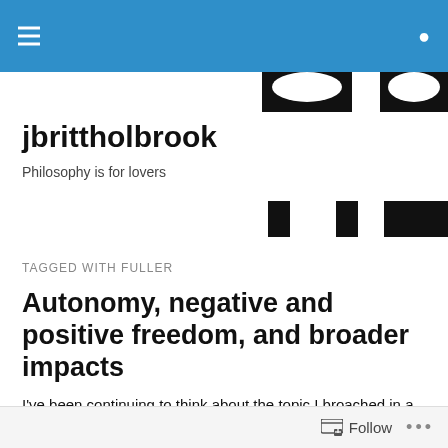jbrittholbrook — navigation header bar
[Figure (logo): Partial black geometric logo shapes visible at top and middle of header area]
jbrittholbrook
Philosophy is for lovers
TAGGED WITH FULLER
Autonomy, negative and positive freedom, and broader impacts
I've been continuing to think about the topic I broached in a previous post. There, I described what I termed 'old' and
Follow